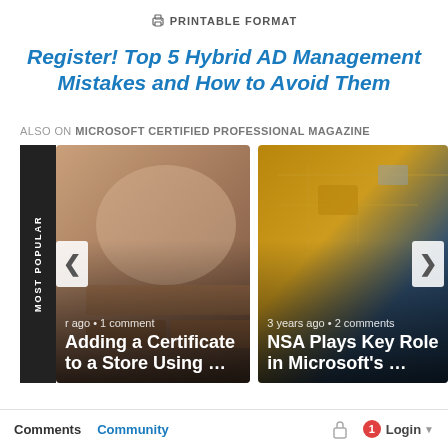PRINTABLE FORMAT
Register! Top 5 Hybrid AD Management Mistakes and How to Avoid Them
ALSO ON MICROSOFT CERTIFIED PROFESSIONAL MAGAZINE
[Figure (photo): Carousel showing two article cards. Left card: person adding a brick to a wall, with text 'r ago • 1 comment' and title 'Adding a Certificate to a Store Using …'. Right card: circuit board closeup, with text '3 years ago • 2 comments' and title 'NSA Plays Key Role in Microsoft's …'. Navigation arrows on left and right. 'MOST POPULAR' vertical badge on left edge.]
Comments  Community  Login